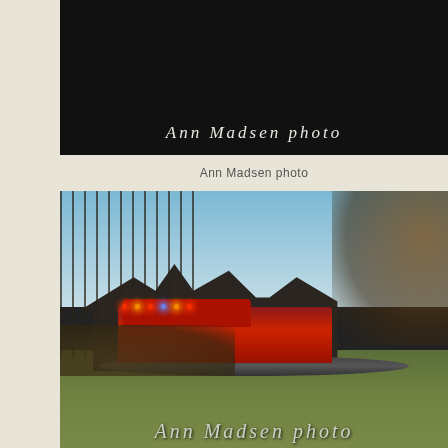[Figure (photo): Dark photograph with white text overlay reading 'Ann Madsen photo' on a nearly black background, appears to be top portion of a news photo]
Ann Madsen photo
[Figure (photo): Outdoor photograph showing a fire truck with red and amber lights activated parked in front of a large residential house. Bare trees visible in background under blue sky. Green lawn in foreground with shrubs. A vehicle is partially visible at left.]
Ann Madsen photo